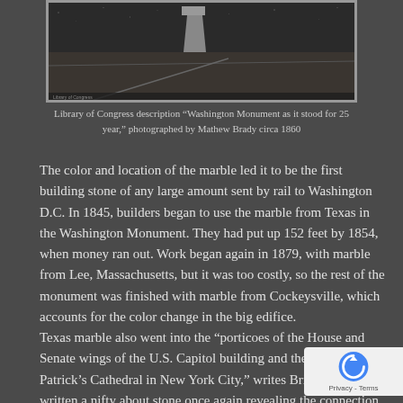[Figure (photo): Black and white photograph of the Washington Monument as it stood for 25 years, photographed by Mathew Brady circa 1860. Shows the unfinished obelisk structure.]
Library of Congress description "Washington Monument as it stood for 25 year," photographed by Mathew Brady circa 1860
The color and location of the marble led it to be the first building stone of any large amount sent by rail to Washington D.C. In 1845, builders began to use the marble from Texas in the Washington Monument. They had put up 152 feet by 1854, when money ran out. Work began again in 1879, with marble from Lee, Massachusetts, but it was too costly, so the rest of the monument was finished with marble from Cockeysville, which accounts for the color change in the big edifice.
Texas marble also went into the “porticoes of the House and Senate wings of the U.S. Capitol building and the towers of St. Patrick’s Cathedral in New York City,” writes Brian. He has written a nifty about stone once again revealing the connection between people, geology, and history.